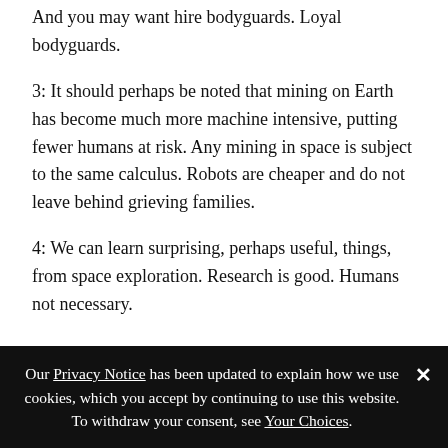And you may want hire bodyguards. Loyal bodyguards.
3: It should perhaps be noted that mining on Earth has become much more machine intensive, putting fewer humans at risk. Any mining in space is subject to the same calculus. Robots are cheaper and do not leave behind grieving families.
4: We can learn surprising, perhaps useful, things, from space exploration. Research is good. Humans not necessary.
5: Helium three has other uses. Neutron-detecting instruments use it. It is also useful, I believe, in cryogenics. Too bad that space boosters seem to focus almost exclusively on fusion. If there’s anyone ranting about the looming Bose-Einstein Condensate Gap should China commandeer the Moon’s helium
Our Privacy Notice has been updated to explain how we use cookies, which you accept by continuing to use this website. To withdraw your consent, see Your Choices.